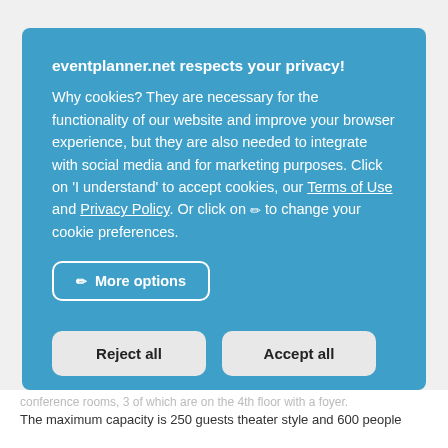eventplanner.net respects your privacy!
Why cookies? They are necessary for the functionality of our website and improve your browser experience, but they are also needed to integrate with social media and for marketing purposes. Click on 'I understand' to accept cookies, our Terms of Use and Privacy Policy. Or click on ✏ to change your cookie preferences.
✏ More options
Reject all
Accept all
conference rooms, 3 of which are on the 4th floor with a foyer. The maximum capacity is 250 guests theater style and 600 people